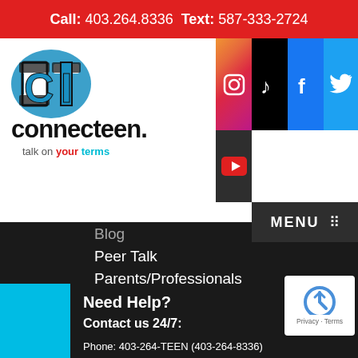Call: 403.264.8336  Text: 587-333-2724
[Figure (logo): ConnecTeen logo with icon and tagline 'talk on your terms']
[Figure (other): Social media icons: Instagram, TikTok, Facebook, Twitter, YouTube]
Blog
Peer Talk
Parents/Professionals
Donate
Need Help?
Contact us 24/7:
Phone: 403-264-TEEN (403-264-8336)
Chat: CalgaryConnecTeen.com (on the home page)
Text: 587-333-2724
ConnecTeen@distresscentre.com
Social Media Icons Square Vectors by Vecteezy